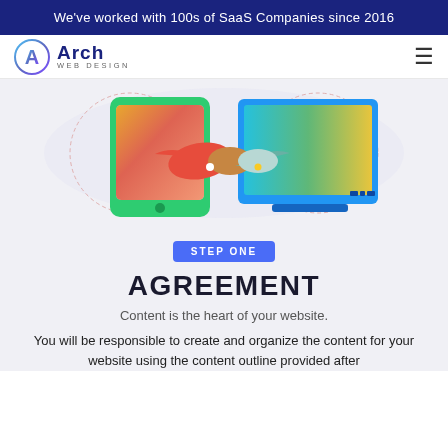We've worked with 100s of SaaS Companies since 2016
[Figure (logo): Arch Web Design logo with colorful 'A' icon and text]
[Figure (illustration): Two cartoon hands shaking through phone and laptop screens with colorful gradient backgrounds]
STEP ONE
AGREEMENT
Content is the heart of your website.
You will be responsible to create and organize the content for your website using the content outline provided after